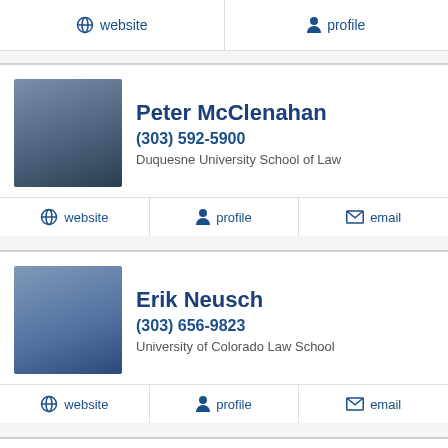website
profile
Peter McClenahan
(303) 592-5900
Duquesne University School of Law
website  profile  email
Erik Neusch
(303) 656-9823
University of Colorado Law School
website  profile  email
David Klibaner
(303) 863-1445